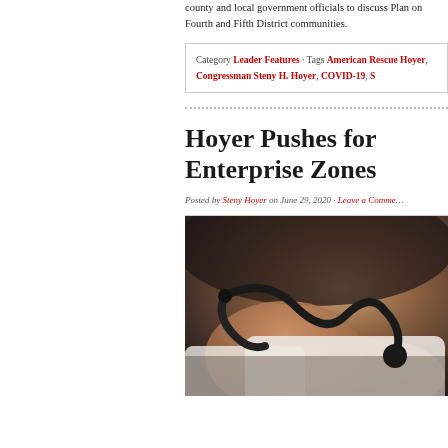county and local government officials to discuss Plan on Fourth and Fifth District communities.
Category Leader Features · Tags American Rescue Hoyer, Congressman Steny H. Hoyer, COVID-19, S
Hoyer Pushes for Enterprise Zones
Posted by Steny Hoyer on June 29, 2020 · Leave a Comment
[Figure (photo): Close-up photo of a person holding a stethoscope, wearing a white coat, dark background]